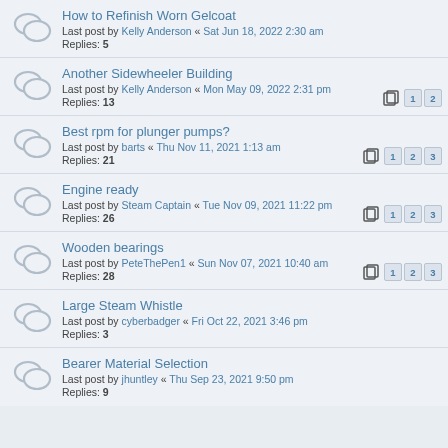How to Refinish Worn Gelcoat
Last post by Kelly Anderson « Sat Jun 18, 2022 2:30 am
Replies: 5
Another Sidewheeler Building
Last post by Kelly Anderson « Mon May 09, 2022 2:31 pm
Replies: 13
Best rpm for plunger pumps?
Last post by barts « Thu Nov 11, 2021 1:13 am
Replies: 21
Engine ready
Last post by Steam Captain « Tue Nov 09, 2021 11:22 pm
Replies: 26
Wooden bearings
Last post by PeteThePen1 « Sun Nov 07, 2021 10:40 am
Replies: 28
Large Steam Whistle
Last post by cyberbadger « Fri Oct 22, 2021 3:46 pm
Replies: 3
Bearer Material Selection
Last post by jhuntley « Thu Sep 23, 2021 9:50 pm
Replies: 9